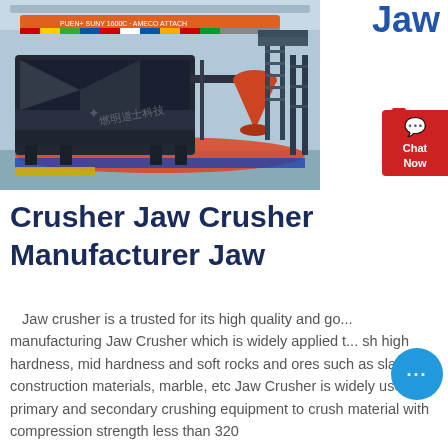Jaw
[Figure (photo): Industrial jaw crusher and related heavy machinery displayed in a large manufacturing facility hall with cranes and colorful flags overhead.]
Crusher Jaw Crusher Manufacturer Jaw
Jaw crusher is a trusted for its high quality and good manufacturing Jaw Crusher which is widely applied to crush high hardness, mid hardness and soft rocks and ores such as slag, construction materials, marble, etc Jaw Crusher is widely used as primary and secondary crushing equipment to crush material with compression strength less than 320